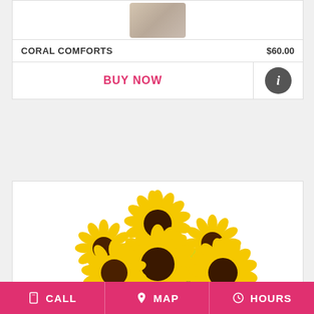[Figure (photo): Partially visible product image of a floral arrangement at top of card]
CORAL COMFORTS    $60.00
BUY NOW
[Figure (illustration): Info button - dark circle with letter i]
[Figure (photo): Bouquet of sunflowers with yellow petals and dark brown centers, mixed with small yellow green daisy-like flowers]
CALL   MAP   HOURS